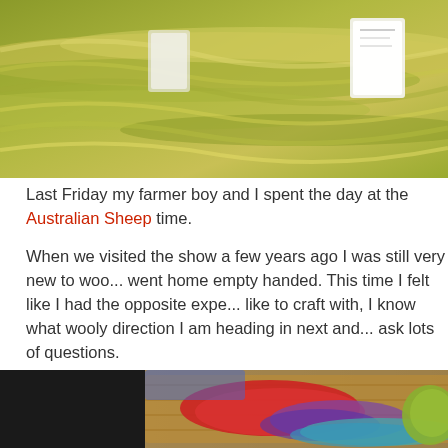[Figure (photo): Close-up photo of skeins of olive/yellow-green wool yarn with tags attached]
Last Friday my farmer boy and I spent the day at the Australian Sheep... time.
When we visited the show a few years ago I was still very new to woo... went home empty handed. This time I felt like I had the opposite expe... like to craft with, I know what wooly direction I am heading in next and... ask lots of questions.
The wool show had so much of what I love, what I am passionate abo...
[Figure (photo): Photo of colorful fiber rovings in a wicker basket — red, purple, blue, teal — with green yarn ball on right]